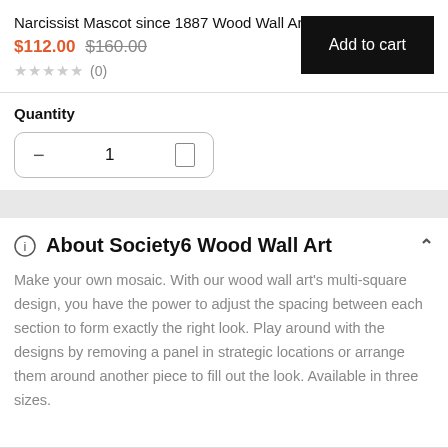Narcissist Mascot since 1887 Wood Wall Art
$112.00 $160.00
★★★★★ (0)
Add to cart
Quantity
About Society6 Wood Wall Art
Make your own mosaic. With our wood wall art's multi-square design, you have the power to adjust the spacing between each section to form exactly the right look. Play around with the designs by removing a panel in strategic locations or arrange them around another piece to fill out the look. Available in three sizes.